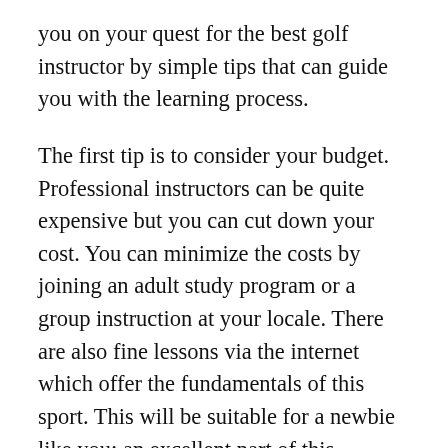you on your quest for the best golf instructor by simple tips that can guide you with the learning process.
The first tip is to consider your budget. Professional instructors can be quite expensive but you can cut down your cost. You can minimize the costs by joining an adult study program or a group instruction at your locale. There are also fine lessons via the internet which offer the fundamentals of this sport. This will be suitable for a newbie like you; an excellent part of this program is that it is being offered absolutely for free.
The second advice is to research and verify